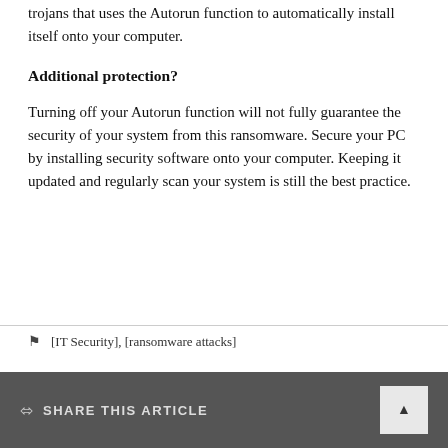trojans that uses the Autorun function to automatically install itself onto your computer.
Additional protection?
Turning off your Autorun function will not fully guarantee the security of your system from this ransomware. Secure your PC by installing security software onto your computer. Keeping it updated and regularly scan your system is still the best practice.
[IT Security], [ransomware attacks]
SHARE THIS ARTICLE